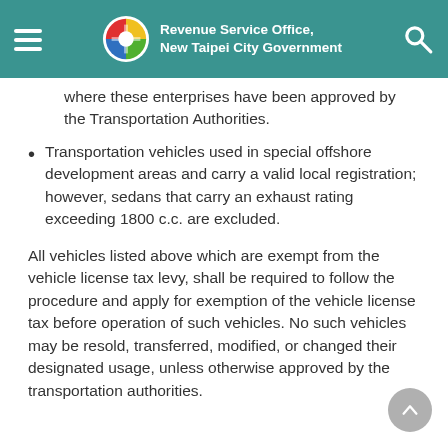Revenue Service Office, New Taipei City Government
where these enterprises have been approved by the Transportation Authorities.
Transportation vehicles used in special offshore development areas and carry a valid local registration; however, sedans that carry an exhaust rating exceeding 1800 c.c. are excluded.
All vehicles listed above which are exempt from the vehicle license tax levy, shall be required to follow the procedure and apply for exemption of the vehicle license tax before operation of such vehicles. No such vehicles may be resold, transferred, modified, or changed their designated usage, unless otherwise approved by the transportation authorities.